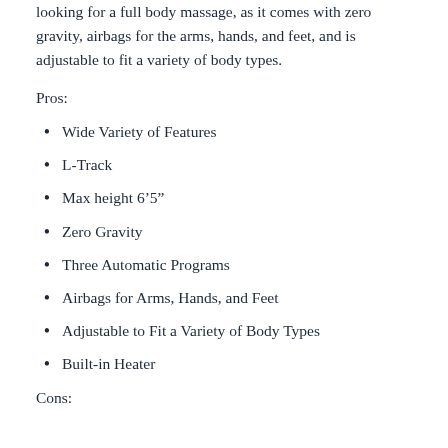looking for a full body massage, as it comes with zero gravity, airbags for the arms, hands, and feet, and is adjustable to fit a variety of body types.
Pros:
Wide Variety of Features
L-Track
Max height 6'5"
Zero Gravity
Three Automatic Programs
Airbags for Arms, Hands, and Feet
Adjustable to Fit a Variety of Body Types
Built-in Heater
Cons: